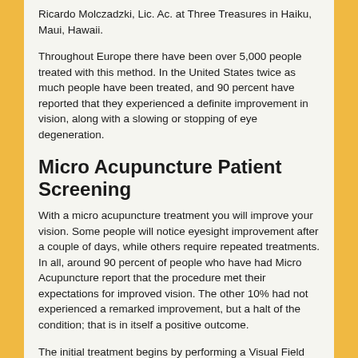Ricardo Molczadzki, Lic. Ac. at Three Treasures in Haiku, Maui, Hawaii.
Throughout Europe there have been over 5,000 people treated with this method. In the United States twice as much people have been treated, and 90 percent have reported that they experienced a definite improvement in vision, along with a slowing or stopping of eye degeneration.
Micro Acupuncture Patient Screening
With a micro acupuncture treatment you will improve your vision. Some people will notice eyesight improvement after a couple of days, while others require repeated treatments. In all, around 90 percent of people who have had Micro Acupuncture report that the procedure met their expectations for improved vision. The other 10% had not experienced a remarked improvement, but a halt of the condition; that is in itself a positive outcome.
The initial treatment begins by performing a Visual Field Test. The computer will map the vision field of the patient; as you can see below. Dark colors represent seriously limited vision, yellow represent clear vision. The visual field test below represents the positive progression after